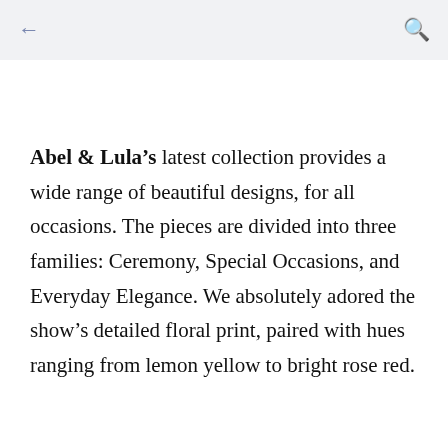← 🔍
Abel & Lula's latest collection provides a wide range of beautiful designs, for all occasions. The pieces are divided into three families: Ceremony, Special Occasions, and Everyday Elegance. We absolutely adored the show's detailed floral print, paired with hues ranging from lemon yellow to bright rose red.